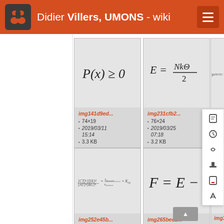Didier Villers, UMONS - wiki
[Figure (screenshot): Wiki page showing a grid of formula image thumbnails. Row 1: img141d9ed (P(x)>=0, 74x19, 2019/03/11 15:14, 3.3 KB), img231cfb2 (E=Nk Theta/2, 76x24, 2019/03/25 07:18, 3.2 KB), img236 (partial). Row 2: img252e45b (equilibrium constant formula, 203x29, 2019/03/15 04:42), img265bed2 (F=E-TS, 103x15, 2019/03/25 07:18), img332 (partial). Sidebar icons visible on right.]
img141d9ed... | 74×19 | 2019/03/11 15:14 | 3.3 KB
img231cfb2... | 76×24 | 2019/03/25 07:18 | 3.2 KB
img252e45b... | 203×29 | 2019/03/15 04:42
img265bed2... | 103×15 | 2019/03/25 07:18